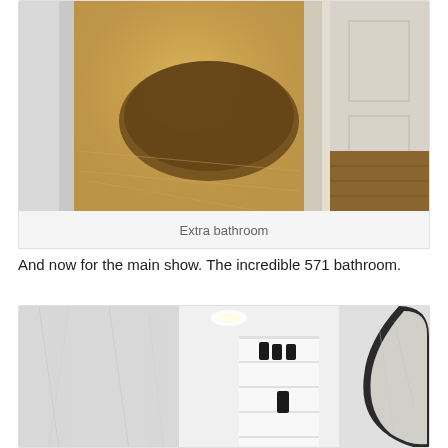[Figure (photo): Photo of an extra bathroom showing a warm-lit room with marble floor and white molding woodwork]
Extra bathroom
And now for the main show. The incredible 571 bathroom.
[Figure (photo): Photo of the 571 bathroom interior showing white marble walls, built-in shelving with black bottles, recessed lighting, and a round mirror with black frame]